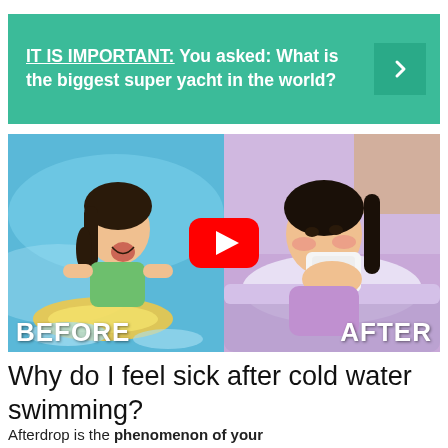IT IS IMPORTANT: You asked: What is the biggest super yacht in the world?
[Figure (photo): Split before/after image showing a child swimming in a pool (BEFORE) and the same child sick in bed blowing her nose (AFTER), with a YouTube play button overlay in the center.]
Why do I feel sick after cold water swimming?
Afterdrop is the phenomenon of your